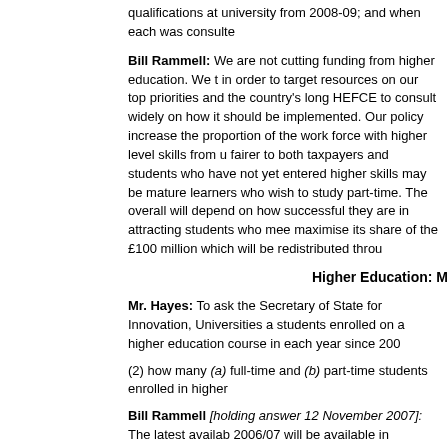qualifications at university from 2008-09; and when each was consulte
Bill Rammell: We are not cutting funding from higher education. We t in order to target resources on our top priorities and the country's long HEFCE to consult widely on how it should be implemented. Our policy increase the proportion of the work force with higher level skills from u fairer to both taxpayers and students who have not yet entered higher skills may be mature learners who wish to study part-time. The overall will depend on how successful they are in attracting students who mee maximise its share of the £100 million which will be redistributed throu
Higher Education: M
Mr. Hayes: To ask the Secretary of State for Innovation, Universities a students enrolled on a higher education course in each year since 200
(2) how many (a) full-time and (b) part-time students enrolled in higher
Bill Rammell [holding answer 12 November 2007]: The latest availab 2006/07 will be available in January 2008.
| Academic year | Mode of study | Total | Of which: |
| --- | --- | --- | --- |
| 2001/02 | Full-time | 86,210 |  |